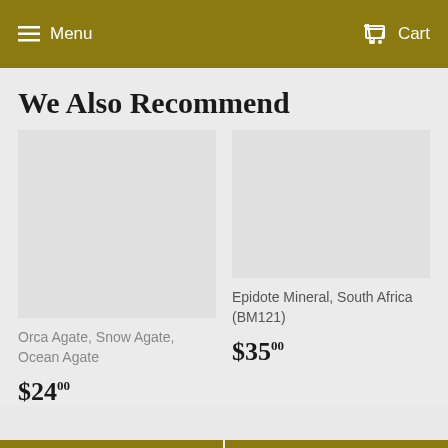Menu  Cart
We Also Recommend
Orca Agate, Snow Agate, Ocean Agate
$24.00
Epidote Mineral, South Africa (BM121)
$35.00